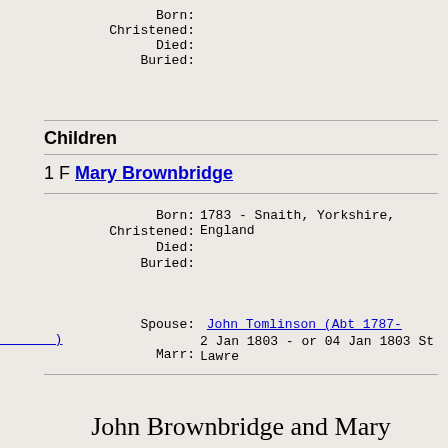Born:
Christened:
Died:
Buried:
Children
1 F Mary Brownbridge
Born: 1783 - Snaith, Yorkshire, England
Christened:
Died:
Buried:
Spouse: John Tomlinson (Abt 1787-        )
Marr: 2 Jan 1803 - or 04 Jan 1803 St Lawre
[Figure (illustration): Decorative chain link divider image]
John Brownbridge and Mary